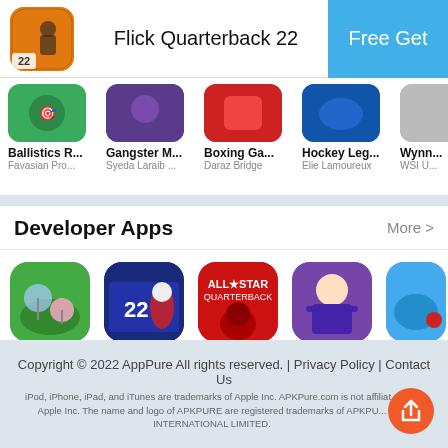Flick Quarterback 22 | Free Get
[Figure (screenshot): App store strip showing app thumbnails: Ballistics R... by Favasian Pro..., Gangster M... by Syeda Laraib..., Boxing Ga... by Daraz Bridge, Hockey Leg... by Elie Lamoureux, Wynn... by WSI U...]
Developer Apps | More >
[Figure (screenshot): Developer apps row: Grass Cut (Games), Flick Field... (Arcade), All Star Qu... (Sports), Agent Dash (Action), Flick... (Sports)]
Copyright © 2022 AppPure All rights reserved. | Privacy Policy | Contact Us
iPod, iPhone, iPad, and iTunes are trademarks of Apple Inc. APKPure.com is not affiliated with Apple Inc. The name and logo of APKPURE are registered trademarks of APKPURE INTERNATIONAL LIMITED.